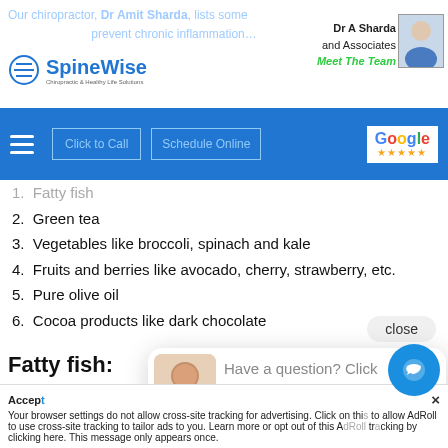SpineWise — Dr A Sharda and Associates — Meet The Team
Navigation bar: Click to Call | Schedule Online | Google Reviews
1. Fatty fish
2. Green tea
3. Vegetables like broccoli, spinach and kale
4. Fruits and berries like avocado, cherry, strawberry, etc.
5. Pure olive oil
6. Cocoa products like dark chocolate
Fatty fish:
Our chiropractor ... salmon, sardin... fish contain long chain omega-3 fatty acids (EPA and DHA) and proteins
Have a question? Click and we'll send you a special just for asking!
close
Accept  ×  Your browser settings do not allow cross-site tracking for advertising. Click on this to allow AdRoll to use cross-site tracking to tailor ads to you. Learn more or opt out of this AdRoll tracking by clicking here. This message only appears once.